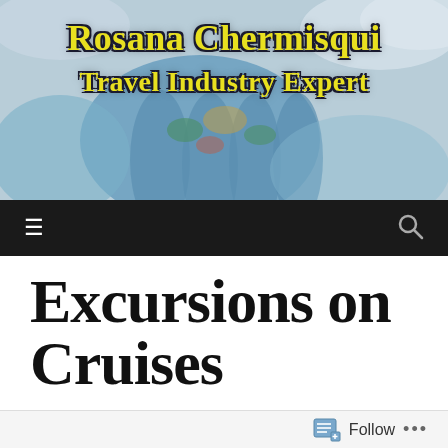[Figure (photo): Blog header banner with colorful painted hands against a cloudy sky background, with yellow bold text overlay reading 'Rosana Chermisqui Travel Industry Expert']
Rosana Chermisqui Travel Industry Expert
Navigation bar with hamburger menu icon and search icon
Excursions on Cruises
DECEMBER 5, 2017 / TRAVELWITHROSANA